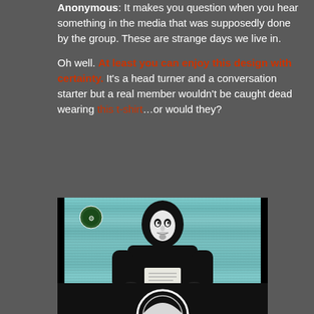Anonymous: It makes you question when you hear something in the media that was supposedly done by the group. These are strange days we live in.

Oh well. At least you can enjoy this design with certainty. It's a head turner and a conversation starter but a real member wouldn't be caught dead wearing this t-shirt…or would they?
[Figure (photo): A person wearing a Guy Fawkes mask and black hoodie sitting at a desk holding papers, in the style of an Anonymous hacktivist video broadcast. Teal/cyan striped background with black borders on left and right sides. Small Anonymous logo visible in upper left corner.]
[Figure (photo): Partial view of another image below, showing what appears to be a circular logo or emblem at the top, dark background.]